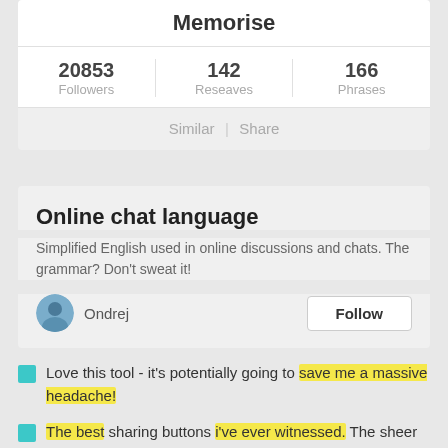Memorise
20853 Followers | 142 Reseaves | 166 Phrases
Similar | Share
Online chat language
Simplified English used in online discussions and chats. The grammar? Don't sweat it!
Ondrej
Follow
Love this tool - it's potentially going to save me a massive headache!
The best sharing buttons i've ever witnessed. The sheer simplicity is mind